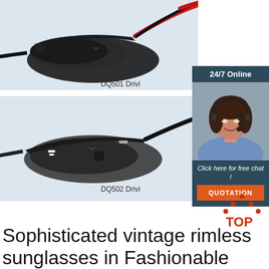[Figure (photo): Product photo of DQ501 driving sunglasses with dark lenses and red/navy frame arms on a light blue-grey background]
DQ501 Drivi
[Figure (photo): Product photo of DQ502 driving sunglasses with dark lenses and black frame on a light blue-grey background]
DQ502 Drivi
[Figure (photo): 24/7 Online customer service chat widget showing a smiling woman with headset, with 'Click here for free chat!' text and orange QUOTATION button]
[Figure (logo): TOP logo with orange dots forming a triangle above the word TOP in orange]
Sophisticated vintage rimless sunglasses in Fashionable